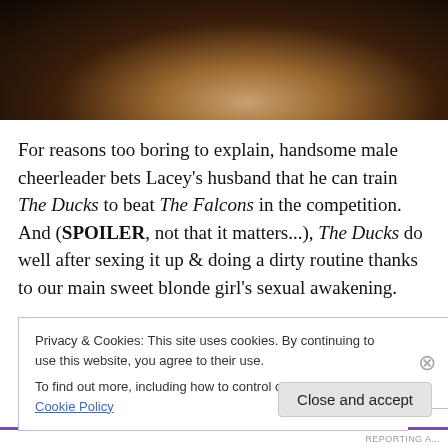[Figure (photo): Dark close-up photo of a person's face/neck area with dim lighting]
For reasons too boring to explain, handsome male cheerleader bets Lacey's husband that he can train The Ducks to beat The Falcons in the competition. And (SPOILER, not that it matters...), The Ducks do well after sexing it up & doing a dirty routine thanks to our main sweet blonde girl's sexual awakening.
Privacy & Cookies: This site uses cookies. By continuing to use this website, you agree to their use.
To find out more, including how to control cookies, see here: Cookie Policy
Close and accept